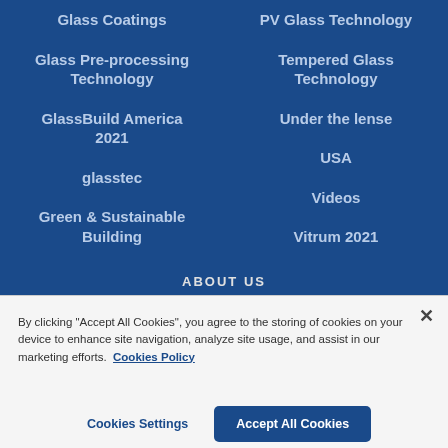Glass Coatings
Glass Pre-processing Technology
GlassBuild America 2021
glasstec
Green & Sustainable Building
PV Glass Technology
Tempered Glass Technology
Under the lense
USA
Videos
Vitrum 2021
ABOUT US
By clicking "Accept All Cookies", you agree to the storing of cookies on your device to enhance site navigation, analyze site usage, and assist in our marketing efforts. Cookies Policy
Cookies Settings
Accept All Cookies